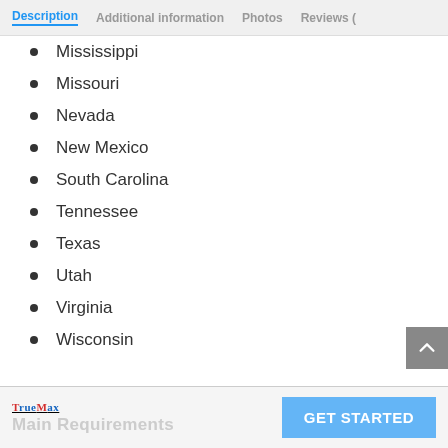Description  Additional information  Photos  Reviews (
Mississippi
Missouri
Nevada
New Mexico
South Carolina
Tennessee
Texas
Utah
Virginia
Wisconsin
TrueMax  GET STARTED  Main Requirements